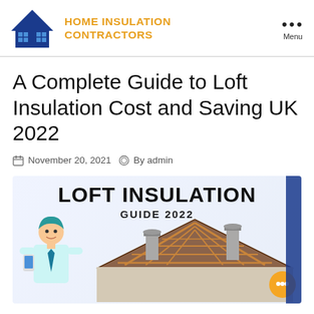HOME INSULATION CONTRACTORS
A Complete Guide to Loft Insulation Cost and Saving UK 2022
November 20, 2021  By admin
[Figure (infographic): Loft Insulation Guide 2022 infographic showing a cross-section of a house roof with a man on the left and chimneys on top of the roof illustration]